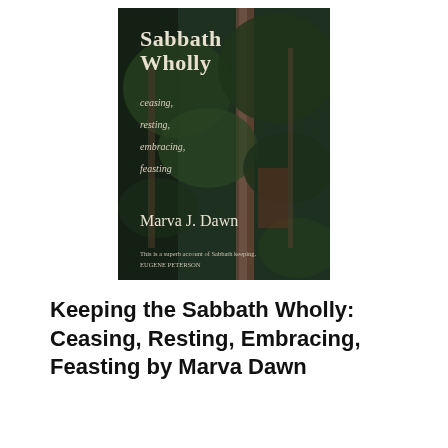[Figure (photo): Book cover of 'Keeping the Sabbath Wholly' by Marva J. Dawn. Shows a dark forest scene with trees. Text on cover: 'Sabbath Wholly', 'ceasing, resting, embracing, feasting', 'Marva J. Dawn', and a quote at bottom: 'This is a superb account of Sabbath keeping. EUGENE PETERSON']
Keeping the Sabbath Wholly: Ceasing, Resting, Embracing, Feasting by Marva Dawn